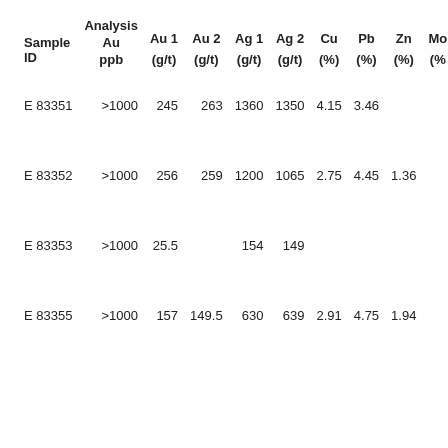| Sample ID | Analysis Au ppb | Au 1 (g/t) | Au 2 (g/t) | Ag 1 (g/t) | Ag 2 (g/t) | Cu (%) | Pb (%) | Zn (%) | Mo (%) |
| --- | --- | --- | --- | --- | --- | --- | --- | --- | --- |
| E 83351 | >1000 | 245 | 263 | 1360 | 1350 | 4.15 | 3.46 |  |  |
| E 83352 | >1000 | 256 | 259 | 1200 | 1065 | 2.75 | 4.45 | 1.36 |  |
| E 83353 | >1000 | 25.5 |  | 154 | 149 |  |  |  |  |
| E 83355 | >1000 | 157 | 149.5 | 630 | 639 | 2.91 | 4.75 | 1.94 |  |